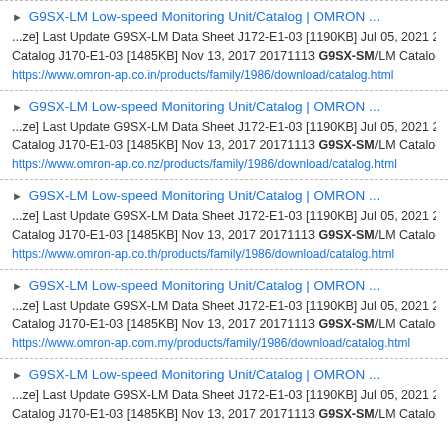G9SX-LM Low-speed Monitoring Unit/Catalog | OMRON ...
...ze] Last Update G9SX-LM Data Sheet J172-E1-03 [1190KB] Jul 05, 2021 202... Catalog J170-E1-03 [1485KB] Nov 13, 2017 20171113 G9SX-SM/LM Catalog...
https://www.omron-ap.co.in/products/family/1986/download/catalog.html
G9SX-LM Low-speed Monitoring Unit/Catalog | OMRON ...
...ze] Last Update G9SX-LM Data Sheet J172-E1-03 [1190KB] Jul 05, 2021 202... Catalog J170-E1-03 [1485KB] Nov 13, 2017 20171113 G9SX-SM/LM Catalog...
https://www.omron-ap.co.nz/products/family/1986/download/catalog.html
G9SX-LM Low-speed Monitoring Unit/Catalog | OMRON ...
...ze] Last Update G9SX-LM Data Sheet J172-E1-03 [1190KB] Jul 05, 2021 202... Catalog J170-E1-03 [1485KB] Nov 13, 2017 20171113 G9SX-SM/LM Catalog...
https://www.omron-ap.co.th/products/family/1986/download/catalog.html
G9SX-LM Low-speed Monitoring Unit/Catalog | OMRON ...
...ze] Last Update G9SX-LM Data Sheet J172-E1-03 [1190KB] Jul 05, 2021 202... Catalog J170-E1-03 [1485KB] Nov 13, 2017 20171113 G9SX-SM/LM Catalog...
https://www.omron-ap.com.my/products/family/1986/download/catalog.html
G9SX-LM Low-speed Monitoring Unit/Catalog | OMRON ...
...ze] Last Update G9SX-LM Data Sheet J172-E1-03 [1190KB] Jul 05, 2021 202... Catalog J170-E1-03 [1485KB] Nov 13, 2017 20171113 G9SX-SM/LM Catalog...